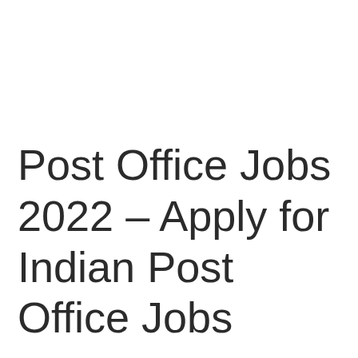Post Office Jobs 2022 – Apply for Indian Post Office Jobs